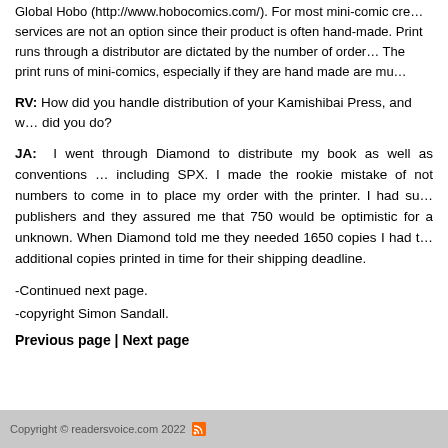Global Hobo (http://www.hobocomics.com/). For most mini-comic creators, services are not an option since their product is often hand-made. Print runs through a distributor are dictated by the number of orders. The print runs of mini-comics, especially if they are hand made are much smaller.
RV: How did you handle distribution of your Kamishibai Press, and what did you do?
JA: I went through Diamond to distribute my book as well as conventions … including SPX. I made the rookie mistake of not waiting for numbers to come in to place my order with the printer. I had surveyed other publishers and they assured me that 750 would be optimistic for a book by an unknown. When Diamond told me they needed 1650 copies I had to scramble to get additional copies printed in time for their shipping deadline.
-Continued next page.
-copyright Simon Sandall.
Previous page | Next page
Copyright © readersvoice.com 2022